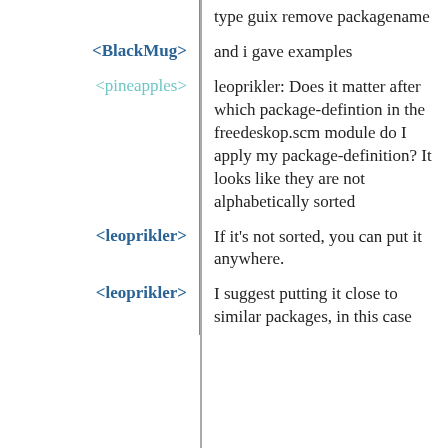type guix remove packagename
<BlackMug> and i gave examples
<pineapples> leoprikler: Does it matter after which package-defintion in the freedeskop.scm module do I apply my package-definition? It looks like they are not alphabetically sorted
<leoprikler> If it's not sorted, you can put it anywhere.
<leoprikler> I suggest putting it close to similar packages, in this case